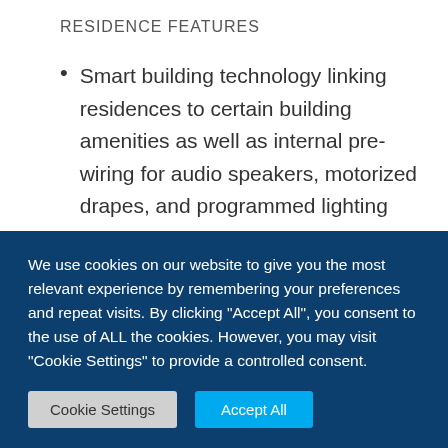RESIDENCE FEATURES
Smart building technology linking residences to certain building amenities as well as internal pre-wiring for audio speakers, motorized drapes, and programmed lighting controls (in select locations).
Private high-speed elevator access to
We use cookies on our website to give you the most relevant experience by remembering your preferences and repeat visits. By clicking "Accept All", you consent to the use of ALL the cookies. However, you may visit "Cookie Settings" to provide a controlled consent.